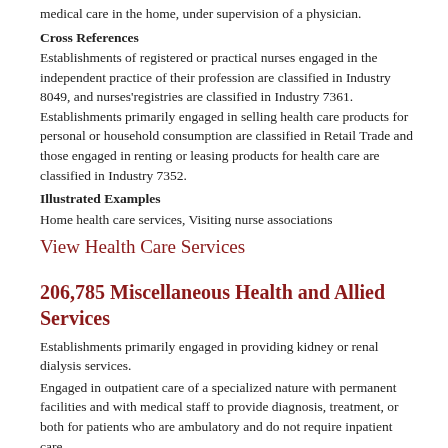medical care in the home, under supervision of a physician.
Cross References
Establishments of registered or practical nurses engaged in the independent practice of their profession are classified in Industry 8049, and nurses'registries are classified in Industry 7361. Establishments primarily engaged in selling health care products for personal or household consumption are classified in Retail Trade and those engaged in renting or leasing products for health care are classified in Industry 7352.
Illustrated Examples
Home health care services, Visiting nurse associations
View Health Care Services
206,785 Miscellaneous Health and Allied Services
Establishments primarily engaged in providing kidney or renal dialysis services.
Engaged in outpatient care of a specialized nature with permanent facilities and with medical staff to provide diagnosis, treatment, or both for patients who are ambulatory and do not require inpatient care.
Engaged in providing health and allied services, not elsewhere classified.
Cross References